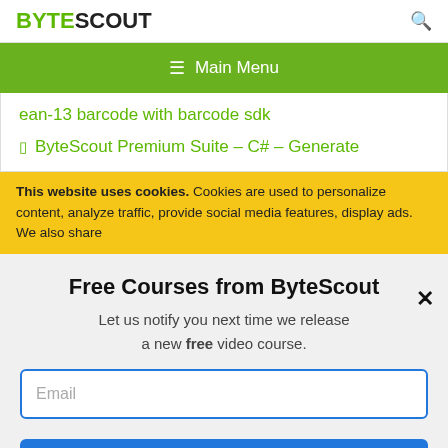BYTESCOUT
≡ Main Menu
ean-13 barcode with barcode sdk
ByteScout Premium Suite – C# – Generate
This website uses cookies. Cookies are used to personalize content, analyze traffic, provide social media features, display ads. We also share
Free Courses from ByteScout
Let us notify you next time we release a new free video course.
Email
SUBSCRIBE